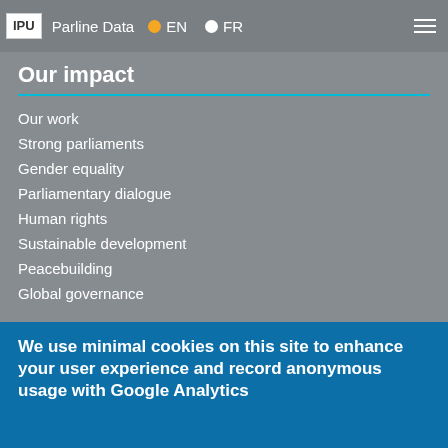IPU | Parline Data | EN | FR
Our impact
Our work
Strong parliaments
Gender equality
Parliamentary dialogue
Human rights
Sustainable development
Peacebuilding
Global governance
We use minimal cookies on this site to enhance your user experience and record anonymous usage with Google Analytics
By continuing to use the site, you agree to us doing so. Clicking the Accept button will remove this message. More on our policies